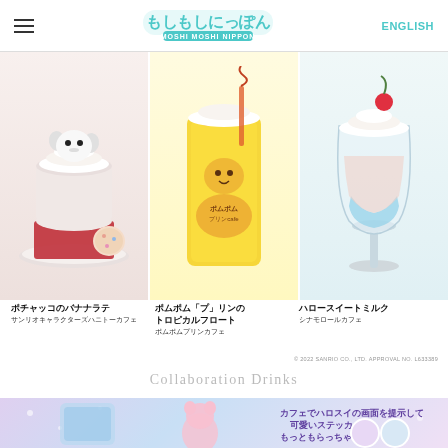もしもしにっぽん MOSHI MOSHI NIPPON | ENGLISH
[Figure (photo): Three Sanrio themed drinks: Pochacco Banana Latte on a red napkin with cookie, Pompompurin Tropical Float in yellow glass, Hello Sweet Milk cocktail with cherry garnish]
ポチャッコのバナナラテ サンリオキャラクターズハニトーカフェ
ポムポム「プ」リンのトロピカルフロート ポムポムプリンカフェ
ハロースイートミルク シナモロールカフェ
© 2022 SANRIO CO., LTD. APPROVAL NO. L633389
Collaboration Drinks
[Figure (photo): Pastel purple and blue banner with Japanese text and kawaii characters including a pink girl character and Sanrio sticker designs]